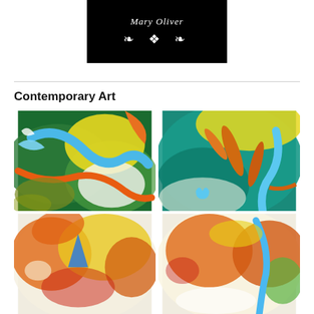[Figure (logo): Black rectangular logo block with white italic text 'Mary Oliver' and white decorative ornamental symbols below]
Contemporary Art
[Figure (photo): Four contemporary art photos arranged in 2x2 grid, showing colorful abstract alcohol ink paintings with orange, yellow, green, blue, and teal fluid shapes and leaf-like forms]
[Figure (photo): Top-left: colorful abstract ink painting with blue, green, yellow, orange swirls]
[Figure (photo): Top-right: abstract painting with orange leaf shapes on teal/blue-green background]
[Figure (photo): Bottom-left: orange and yellow flower-like abstract shapes with blue triangle]
[Figure (photo): Bottom-right: orange floral abstract with blue and green accents]